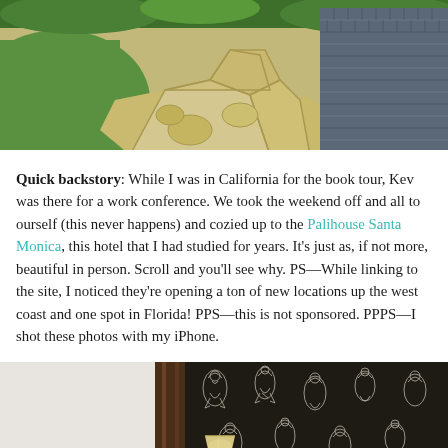[Figure (photo): Outdoor stone pathway with grass on the left, irregular flagstone pavers in the center, and a herringbone dark grey brick pattern on the right. Green foliage visible at top.]
Quick backstory: While I was in California for the book tour, Kev was there for a work conference. We took the weekend off and all to ourself (this never happens) and cozied up to the Palihouse Santa Monica, this hotel that I had studied for years. It's just as, if not more, beautiful in person. Scroll and you'll see why. PS—While linking to the site, I noticed they're opening a ton of new locations up the west coast and one spot in Florida! PPS—this is not sponsored. PPPS—I shot these photos with my iPhone.
[Figure (photo): Interior hotel room photo showing a dark wooden door frame on the left and dark wallpaper with white illustrated toile pattern (animals/figures) on the right side. A small lamp is visible at the bottom center.]